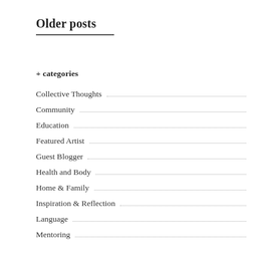Older posts
+ categories
Collective Thoughts
Community
Education
Featured Artist
Guest Blogger
Health and Body
Home & Family
Inspiration & Reflection
Language
Mentoring